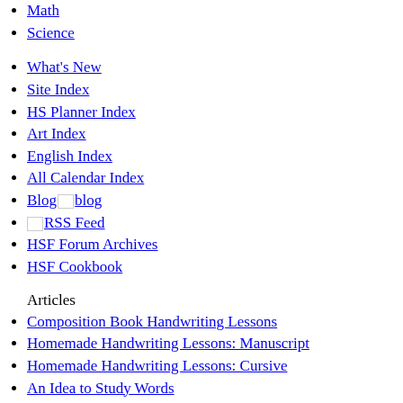Math
Science
What's New
Site Index
HS Planner Index
Art Index
English Index
All Calendar Index
Blog blog
internet RSS Feed
HSF Forum Archives
HSF Cookbook
Articles
Composition Book Handwriting Lessons
Homemade Handwriting Lessons: Manuscript
Homemade Handwriting Lessons: Cursive
An Idea to Study Words
Make a Word Book - companion page to previous link
Sentence Building - Activity One - Subject | Transitive Verb | Direct Object
Sentence Building - Activity Two - Subject | Intransitive Verb
Ease Into Writing: Timed Writing
Copy Work and Dictation